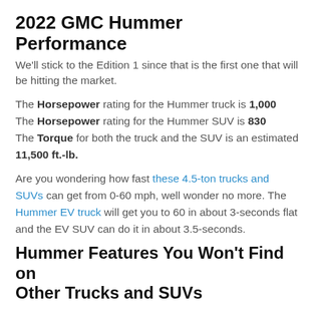2022 GMC Hummer Performance
We'll stick to the Edition 1 since that is the first one that will be hitting the market.
The Horsepower rating for the Hummer truck is 1,000
The Horsepower rating for the Hummer SUV is 830
The Torque for both the truck and the SUV is an estimated 11,500 ft.-lb.
Are you wondering how fast these 4.5-ton trucks and SUVs can get from 0-60 mph, well wonder no more. The Hummer EV truck will get you to 60 in about 3-seconds flat and the EV SUV can do it in about 3.5-seconds.
Hummer Features You Won't Find on Other Trucks and SUVs